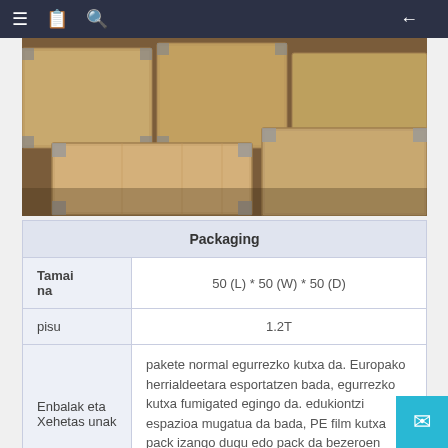[Figure (photo): Wooden shipping crates/boxes stacked in a warehouse]
| Packaging |
| --- |
| Tamaina | 50 (L) * 50 (W) * 50 (D) |
| pisu | 1.2T |
| Enbalak eta Xehetas unak | pakete normal egurrezko kutxa da. Europako herrialdeetara esportatzen bada, egurrezko kutxa fumigated egingo da. edukiontzi espazioa mugatua da bada, PE film kutxa pack izango dugu edo pack da bezeroen eskakizunen arabera. |